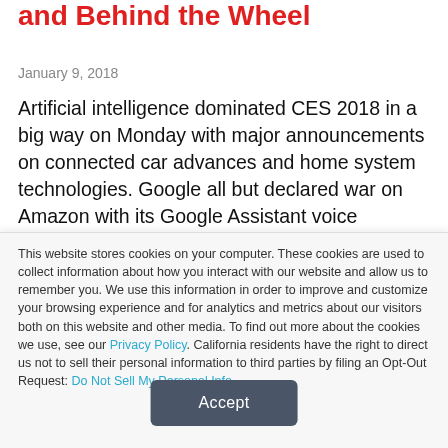and Behind the Wheel
January 9, 2018
Artificial intelligence dominated CES 2018 in a big way on Monday with major announcements on connected car advances and home system technologies. Google all but declared war on Amazon with its Google Assistant voice technology making its presence known
This website stores cookies on your computer. These cookies are used to collect information about how you interact with our website and allow us to remember you. We use this information in order to improve and customize your browsing experience and for analytics and metrics about our visitors both on this website and other media. To find out more about the cookies we use, see our Privacy Policy. California residents have the right to direct us not to sell their personal information to third parties by filing an Opt-Out Request: Do Not Sell My Personal Info.